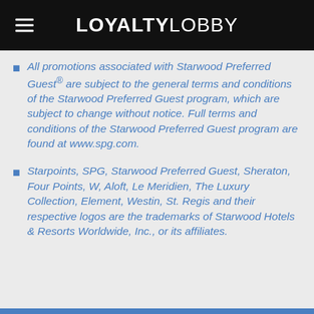LOYALTYLOBBY
All promotions associated with Starwood Preferred Guest® are subject to the general terms and conditions of the Starwood Preferred Guest program, which are subject to change without notice. Full terms and conditions of the Starwood Preferred Guest program are found at www.spg.com.
Starpoints, SPG, Starwood Preferred Guest, Sheraton, Four Points, W, Aloft, Le Meridien, The Luxury Collection, Element, Westin, St. Regis and their respective logos are the trademarks of Starwood Hotels & Resorts Worldwide, Inc., or its affiliates.